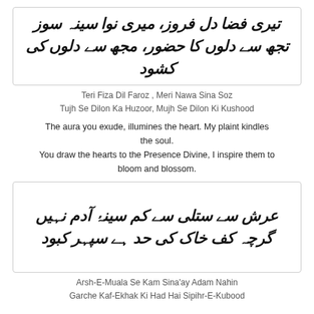[Figure (illustration): Urdu calligraphy couplet in a bordered box: Teri Fiza Dil Faroz, Meri Nawa Sina Soz / Tujh Se Dilon Ka Huzoor, Mujh Se Dilon Ki Kushood]
Teri Fiza Dil Faroz , Meri Nawa Sina Soz
Tujh Se Dilon Ka Huzoor, Mujh Se Dilon Ki Kushood
The aura you exude, illumines the heart. My plaint kindles the soul.
You draw the hearts to the Presence Divine, I inspire them to bloom and blossom.
[Figure (illustration): Urdu calligraphy couplet in a bordered box: Arsh-E-Muala Se Kam Sina'ay Adam Nahin / Garche Kaf-Ekhak Ki Had Hai Sipihr-E-Kubood]
Arsh-E-Muala Se Kam Sina'ay Adam Nahin
Garche Kaf-Ekhak Ki Had Hai Sipihr-E-Kubood